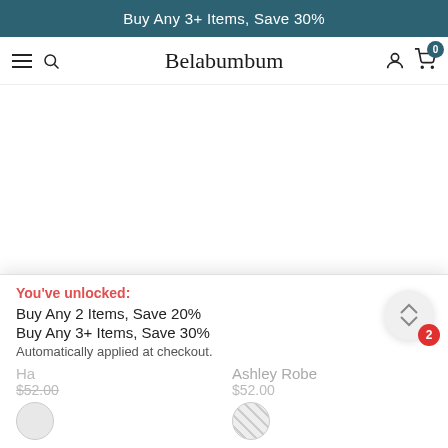Buy Any 3+ Items, Save 30%
Belabumbum
[Figure (screenshot): White product image area (blank/loading)]
You've unlocked:
Buy Any 2 Items, Save 20%
Buy Any 3+ Items, Save 30%
Automatically applied at checkout.
Ashley Robe
$52.00